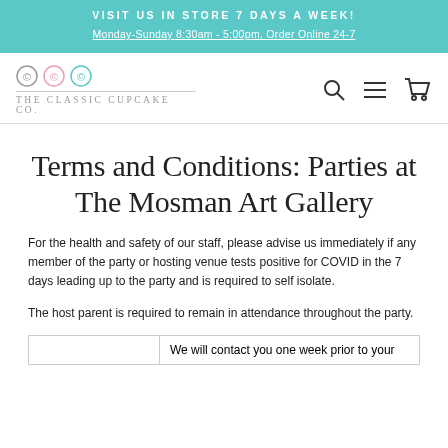VISIT US IN STORE 7 DAYS A WEEK!
Monday-Sunday 8:30am - 5:00pm. Order Online 24-7
[Figure (logo): The Classic Cupcake Co. logo with three circular copyright-style symbols in grey, pink, and teal, and navigation icons (search, hamburger menu, cart)]
Terms and Conditions: Parties at The Mosman Art Gallery
For the health and safety of our staff, please advise us immediately if any member of the party or hosting venue tests positive for COVID in the 7 days leading up to the party and is required to self isolate.
The host parent is required to remain in attendance throughout the party.
|  | We will contact you one week prior to your |